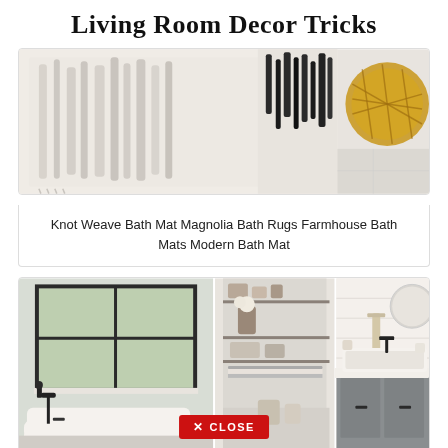Living Room Decor Tricks
[Figure (photo): Close-up photo of a white knot weave bath mat with black tassels and a rattan basket in the upper right corner, on a light tile floor]
Knot Weave Bath Mat Magnolia Bath Rugs Farmhouse Bath Mats Modern Bath Mat
[Figure (photo): Collage of three bathroom photos: left shows a white freestanding bathtub with black floor-mount faucet near a large window; center shows built-in shelving niche with items and folded towels; right shows a gray vanity with white farmhouse sink and mirror. A red CLOSE button overlay is visible at the bottom center.]